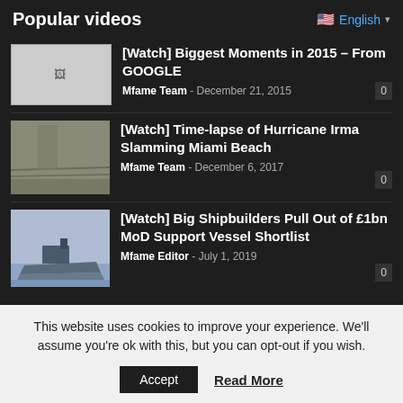Popular videos
English
[Watch] Biggest Moments in 2015 – From GOOGLE
Mfame Team - December 21, 2015
[Watch] Time-lapse of Hurricane Irma Slamming Miami Beach
Mfame Team - December 6, 2017
[Watch] Big Shipbuilders Pull Out of £1bn MoD Support Vessel Shortlist
Mfame Editor - July 1, 2019
This website uses cookies to improve your experience. We'll assume you're ok with this, but you can opt-out if you wish.
Accept
Read More